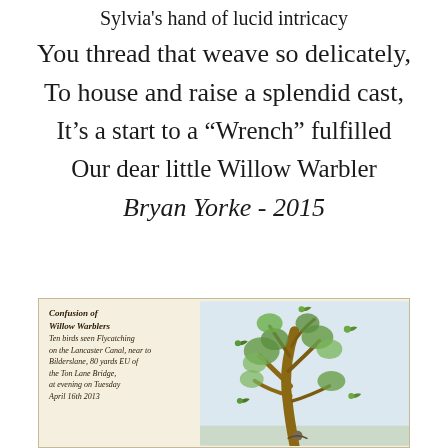Sylvia's hand of lucid intricacy
You thread that weave so delicately,
To house and raise a splendid cast,
It’s a start to a “Wrench” fulfilled
Our dear little Willow Warbler
Bryan Yorke - 2015
[Figure (illustration): Watercolour illustration of a tree with willow warblers, with handwritten notes on the left reading 'Confusion of Willow Warblers, Ten birds seen Flycatching on the Lancaster Canal, near to Bilderslane, 80 yards EU of the Ton Lane Bridge, at evening on Tuesday April 16th 2013']